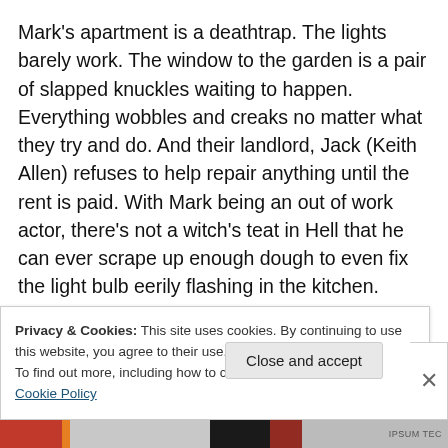Mark's apartment is a deathtrap. The lights barely work. The window to the garden is a pair of slapped knuckles waiting to happen. Everything wobbles and creaks no matter what they try and do. And their landlord, Jack (Keith Allen) refuses to help repair anything until the rent is paid. With Mark being an out of work actor, there's not a witch's teat in Hell that he can ever scrape up enough dough to even fix the light bulb eerily flashing in the kitchen.

And that's where things start to become a problem. A rising body count and a lot of individuals sticking their
Privacy & Cookies: This site uses cookies. By continuing to use this website, you agree to their use.
To find out more, including how to control cookies, see here: Cookie Policy
Close and accept